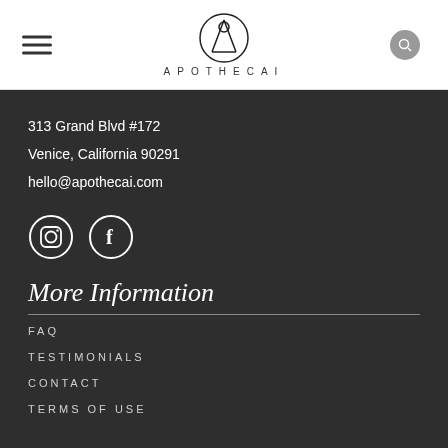APOTHECAI
313 Grand Blvd #172
Venice, California 90291
hello@apothecai.com
[Figure (illustration): Instagram and Facebook social media icons (circle outlines)]
More Information
FAQ
TESTIMONIALS
CONTACT
TERMS OF USE